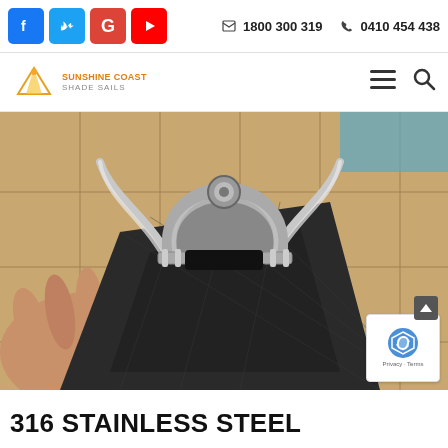1800 300 319   0410 454 438
[Figure (logo): Sunshine Coast Shade Sails logo with mountain/triangle icon]
[Figure (photo): Close-up photo of a 316 stainless steel D-shackle and cable wire attached to black shade sail fabric, held by a hand, with tiled outdoor area in background]
316 STAINLESS STEEL